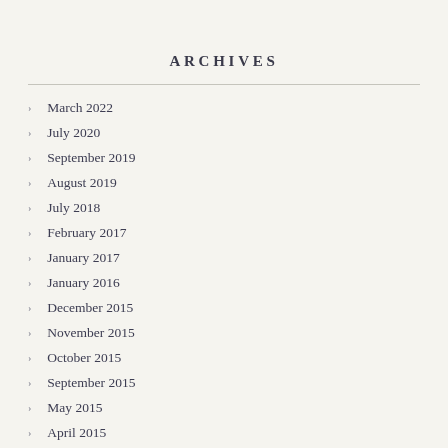ARCHIVES
March 2022
July 2020
September 2019
August 2019
July 2018
February 2017
January 2017
January 2016
December 2015
November 2015
October 2015
September 2015
May 2015
April 2015